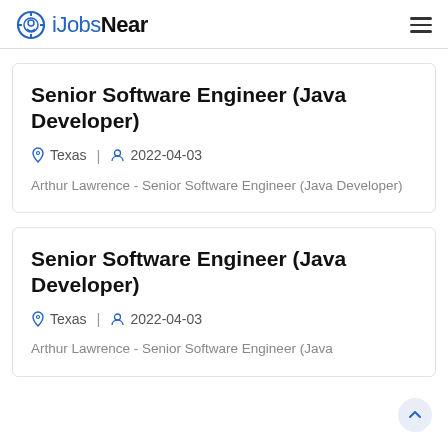iJobsNear
Senior Software Engineer (Java Developer)
Texas | 2022-04-03
Arthur Lawrence - Senior Software Engineer (Java Developer)
Senior Software Engineer (Java Developer)
Texas | 2022-04-03
Arthur Lawrence - Senior Software Engineer (Java